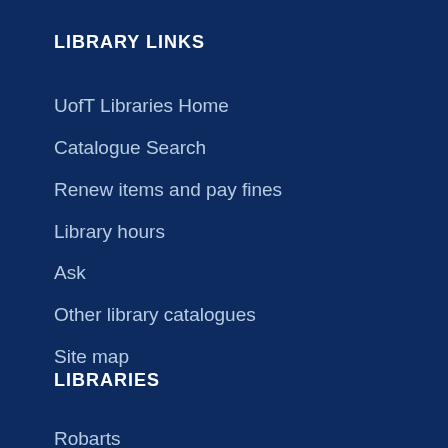LIBRARY LINKS
UofT Libraries Home
Catalogue Search
Renew items and pay fines
Library hours
Ask
Other library catalogues
Site map
LIBRARIES
Robarts